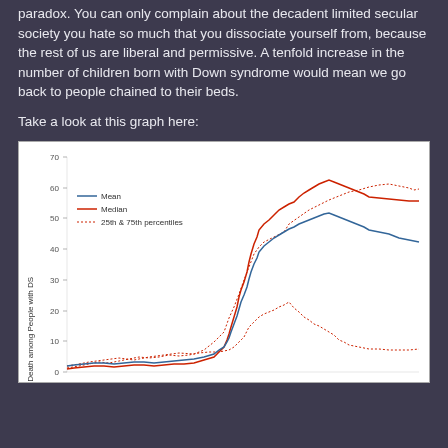paradox. You can only complain about the decadent limited secular society you hate so much that you dissociate yourself from, because the rest of us are liberal and permissive. A tenfold increase in the number of children born with Down syndrome would mean we go back to people chained to their beds.
Take a look at this graph here:
[Figure (continuous-plot): Line chart showing age at death among people with Down syndrome over time. Shows Mean (blue solid line), Median (red solid line), and 25th & 75th percentiles (red dotted lines). Y-axis from 0 to 70. All lines show dramatic increase over time, with mean reaching ~45, median ~53, and 75th percentile ~60.]